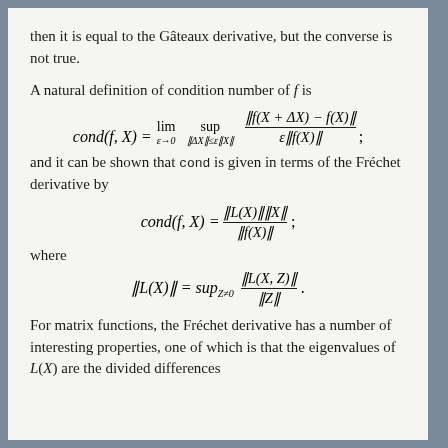then it is equal to the Gâteaux derivative, but the converse is not true.
A natural definition of condition number of f is
and it can be shown that cond is given in terms of the Fréchet derivative by
where
For matrix functions, the Fréchet derivative has a number of interesting properties, one of which is that the eigenvalues of L(X) are the divided differences